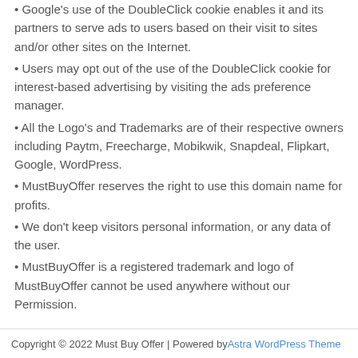• Google's use of the DoubleClick cookie enables it and its partners to serve ads to users based on their visit to sites and/or other sites on the Internet.
• Users may opt out of the use of the DoubleClick cookie for interest-based advertising by visiting the ads preference manager.
• All the Logo's and Trademarks are of their respective owners including Paytm, Freecharge, Mobikwik, Snapdeal, Flipkart, Google, WordPress.
• MustBuyOffer reserves the right to use this domain name for profits.
• We don't keep visitors personal information, or any data of the user.
• MustBuyOffer is a registered trademark and logo of MustBuyOffer cannot be used anywhere without our Permission.
Copyright © 2022 Must Buy Offer | Powered by Astra WordPress Theme